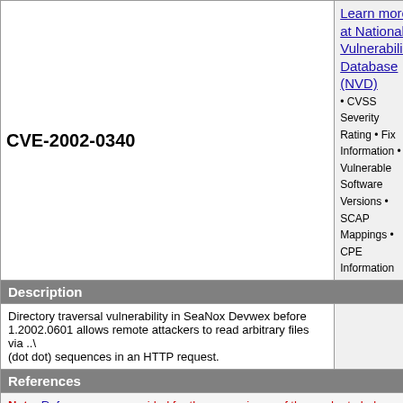CVE-2002-0340
Learn more at National Vulnerability Database (NVD) • CVSS Severity Rating • Fix Information • Vulnerable Software Versions • SCAP Mappings • CPE Information
Description
Directory traversal vulnerability in SeaNox Devwex before 1.2002.0601 allows remote attackers to read arbitrary files via ..\ (dot dot) sequences in an HTTP request.
References
Note: References are provided for the convenience of the reader to help distinguish between vulnerabilities. The list is not intended to be complete.
BID:4978
URL:http://www.securityfocus.com/bid/4978
BUGTRAQ:20020608 SeaNox Devwex - Denial of Service and Directory traversal
URL:http://archives.neohapsis.com/archives/bugtraq/2002-06/0056.html
CONFIRM:http://www.seanox.de/projects.devwex.php
OSVDB:5048
URL:http://www.osvdb.org/5048
XF:devwex-dotdot-directory-traversal(9080)